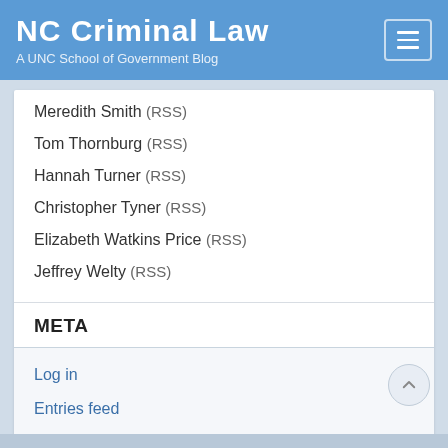NC Criminal Law — A UNC School of Government Blog
Meredith Smith (RSS)
Tom Thornburg (RSS)
Hannah Turner (RSS)
Christopher Tyner (RSS)
Elizabeth Watkins Price (RSS)
Jeffrey Welty (RSS)
META
Log in
Entries feed
Comments feed
WordPress.org